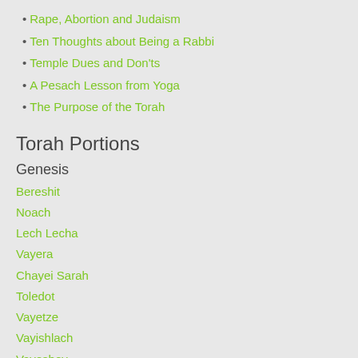Rape, Abortion and Judaism
Ten Thoughts about Being a Rabbi
Temple Dues and Don'ts
A Pesach Lesson from Yoga
The Purpose of the Torah
Torah Portions
Genesis
Bereshit
Noach
Lech Lecha
Vayera
Chayei Sarah
Toledot
Vayetze
Vayishlach
Vayeshev
Miketz